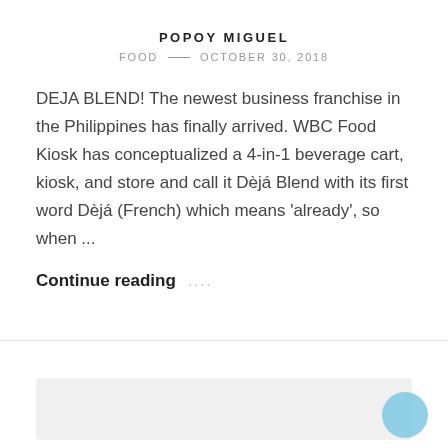POPOY MIGUEL
FOOD — OCTOBER 30, 2018
DEJA BLEND! The newest business franchise in the Philippines has finally arrived. WBC Food Kiosk has conceptualized a 4-in-1 beverage cart, kiosk, and store and call it Dèjá Blend with its first word Dèjá (French) which means 'already', so when ...
Continue reading ....
[Figure (photo): Gray placeholder image area at the bottom of the page with a light blue circle in the bottom right corner]